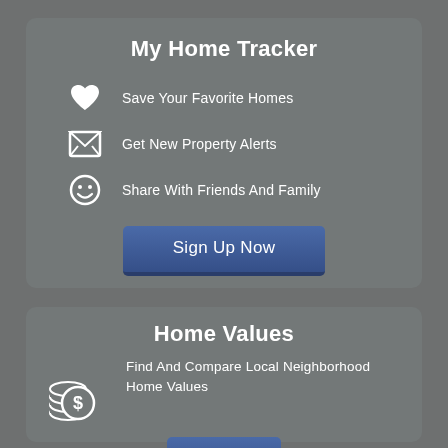My Home Tracker
Save Your Favorite Homes
Get New Property Alerts
Share With Friends And Family
Sign Up Now
Home Values
Find And Compare Local Neighborhood Home Values
Try it